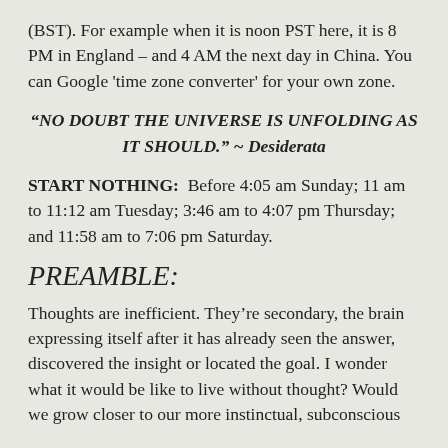(BST). For example when it is noon PST here, it is 8 PM in England – and 4 AM the next day in China. You can Google 'time zone converter' for your own zone.
“NO DOUBT THE UNIVERSE IS UNFOLDING AS IT SHOULD.” ~ Desiderata
START NOTHING: Before 4:05 am Sunday; 11 am to 11:12 am Tuesday; 3:46 am to 4:07 pm Thursday; and 11:58 am to 7:06 pm Saturday.
PREAMBLE:
Thoughts are inefficient. They’re secondary, the brain expressing itself after it has already seen the answer, discovered the insight or located the goal. I wonder what it would be like to live without thought? Would we grow closer to our more instinctual, subconscious